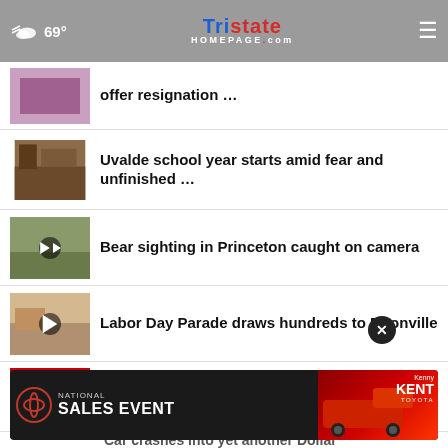69° | TRISTATE HOMEPAGE.com
offer resignation …
Uvalde school year starts amid fear and unfinished …
Bear sighting in Princeton caught on camera
Labor Day Parade draws hundreds to Boonville
CVS to buy home health-care provider Signify for …
Flash flooding in southern Indiana kills
[Figure (screenshot): Toyota National Sales Event advertisement banner with Kenny Kent Toyota branding and red truck image]
Car crashes into yet another Dollar